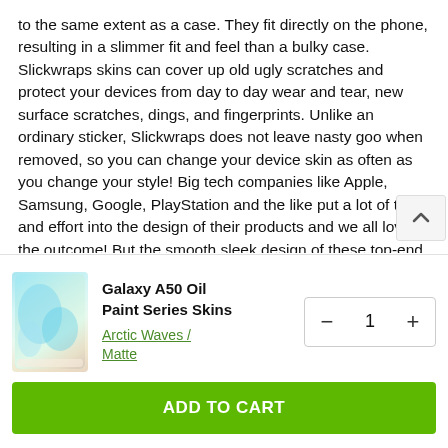to the same extent as a case. They fit directly on the phone, resulting in a slimmer fit and feel than a bulky case. Slickwraps skins can cover up old ugly scratches and protect your devices from day to day wear and tear, new surface scratches, dings, and fingerprints. Unlike an ordinary sticker, Slickwraps does not leave nasty goo when removed, so you can change your device skin as often as you change your style! Big tech companies like Apple, Samsung, Google, PlayStation and the like put a lot of time and effort into the design of their products and we all love the outcome! But the smooth sleek design of these top-end devices won't be around for long without some kind of protection. A Slickwraps skin is a great way to protect the surface of your device from unsightly scratches and maintain the original overall shape and design! Slickwraps can also be a perfect way to expand a personal brand. Have a custom logo? You can use our customization
[Figure (photo): Product thumbnail image of Galaxy A50 Oil Paint Series Skin in Arctic Waves pattern]
Galaxy A50 Oil Paint Series Skins
Arctic Waves / Matte
- 1 +
ADD TO CART